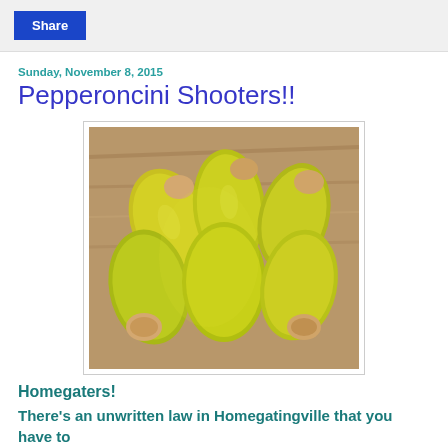Share
Sunday, November 8, 2015
Pepperoncini Shooters!!
[Figure (photo): Close-up photo of stuffed pepperoncini peppers piled on a wooden surface. The peppers are yellow-green and appear to be stuffed with a beige/cream colored filling poking out from the ends.]
Homegaters!
There's an unwritten law in Homegatingville that you have to